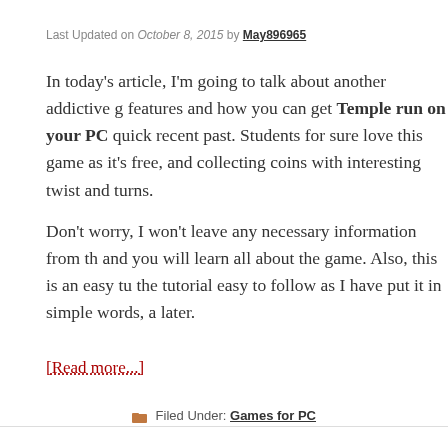Last Updated on October 8, 2015 by May896965
In today's article, I'm going to talk about another addictive g… features and how you can get Temple run on your PC quick… recent past. Students for sure love this game as it's free, and… collecting coins with interesting twist and turns.
Don't worry, I won't leave any necessary information from th… and you will learn all about the game. Also, this is an easy tu… the tutorial easy to follow as I have put it in simple words, a… later.
[Read more...]
Filed Under: Games for PC